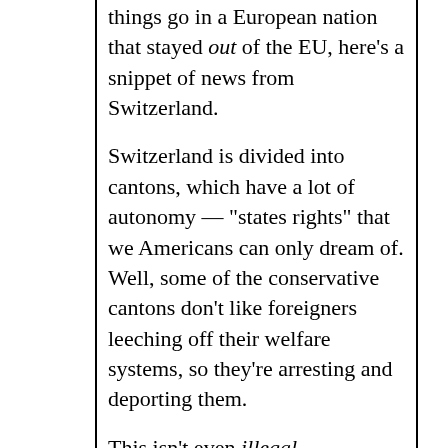things go in a European nation that stayed out of the EU, here's a snippet of news from Switzerland.
Switzerland is divided into cantons, which have a lot of autonomy — "states rights" that we Americans can only dream of. Well, some of the conservative cantons don't like foreigners leeching off their welfare systems, so they're arresting and deporting them.
This isn't even illegal immigrants, mind, for whom there is even less tolerance. Story from an English-language Swiss newspaper, The Local, quote:
The Zurich-based newspaper Tages Anzeiger reported on the case of a Turkish woman who moved to Switzerland in 2006 when she married a